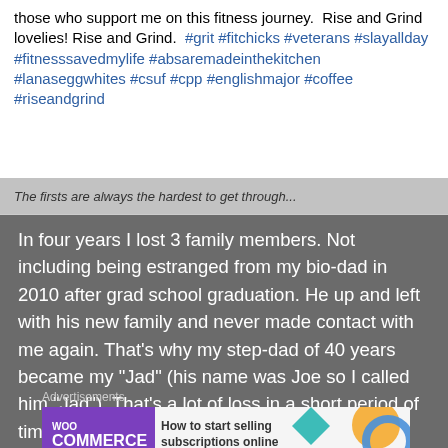those who support me on this fitness journey.  Rise and Grind lovelies! Rise and Grind.  #grit #fitchicks #veterans #slayallday #fitnesssavedmylife #absaremadeinthekitchen #lanaseggwhites #csuf #cpp #englishmajor #coffee #riseandgrind
The firsts are always the hardest to get through...
In four years I lost 3 family members. Not including being estranged from my bio-dad in 2010 after grad school graduation. He up and left with his new family and never made contact with me again. That's why my step-dad of 40 years became my "Jad" (his name was Joe so I called him "Jad"). That's a lot of loss in a short period of time.
Advertisements
[Figure (other): WooCommerce advertisement banner: purple background on left with WooCommerce logo text, right side shows 'How to start selling subscriptions online' with teal diamond, orange circle, and blue arc decorative shapes]